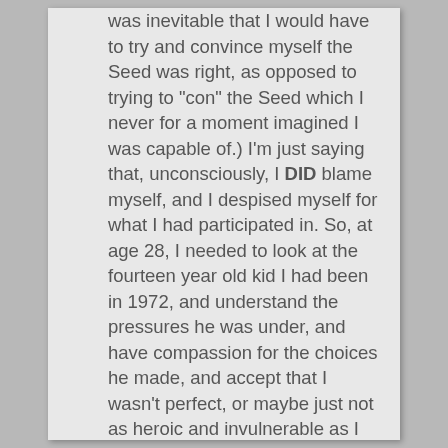was inevitable that I would have to try and convince myself the Seed was right, as opposed to trying to "con" the Seed which I never for a moment imagined I was capable of.) I'm just saying that, unconsciously, I DID blame myself, and I despised myself for what I had participated in. So, at age 28, I needed to look at the fourteen year old kid I had been in 1972, and understand the pressures he was under, and have compassion for the choices he made, and accept that I wasn't perfect, or maybe just not as heroic and invulnerable as I would have like to have been. I'm not saying the Seed didn't suck; it did. And I wish there